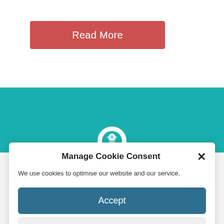[Figure (screenshot): Red 'Read More' button on white background]
[Figure (screenshot): Teal banner with white cookie consent icon circle]
Manage Cookie Consent
We use cookies to optimise our website and our service.
[Figure (screenshot): Accept button - dark teal rounded rectangle]
[Figure (screenshot): Dismiss button - light grey rounded rectangle]
[Figure (screenshot): Preferences button - white with teal border rounded rectangle]